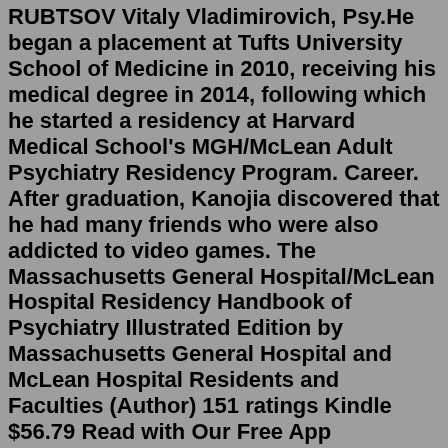RUBTSOV Vitaly Vladimirovich, Psy.He began a placement at Tufts University School of Medicine in 2010, receiving his medical degree in 2014, following which he started a residency at Harvard Medical School's MGH/McLean Adult Psychiatry Residency Program. Career. After graduation, Kanojia discovered that he had many friends who were also addicted to video games. The Massachusetts General Hospital/McLean Hospital Residency Handbook of Psychiatry Illustrated Edition by Massachusetts General Hospital and McLean Hospital Residents and Faculties (Author) 151 ratings Kindle $56.79 Read with Our Free App Paperback $54.41 9 Used from $54.41 10 New from $54.41Boston, MA: MGH Psychiatry Academy. A Statewide Strategy for Expanding Graduate Medical Education be Establishing New Teaching Hospitals and Residency Programs.Boston, MA: MGH Psychiatry Academy. A Statewide Strategy for Expanding Graduate Medical Education be Establishing New Teaching Hospitals and Residency Programs.Psychiatric disorders in